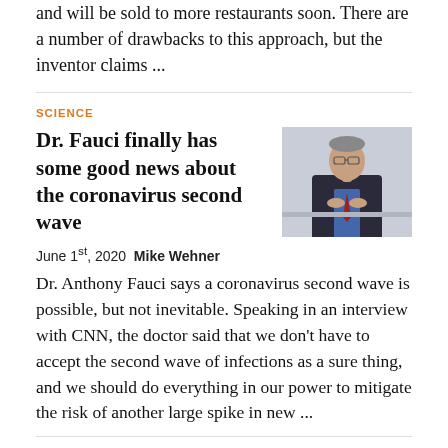and will be sold to more restaurants soon. There are a number of drawbacks to this approach, but the inventor claims ...
SCIENCE
Dr. Fauci finally has some good news about the coronavirus second wave
[Figure (photo): Photo of Dr. Anthony Fauci, seated, in a dark suit, with hands clasped in front of his face.]
June 1st, 2020 Mike Wehner
Dr. Anthony Fauci says a coronavirus second wave is possible, but not inevitable. Speaking in an interview with CNN, the doctor said that we don’t have to accept the second wave of infections as a sure thing, and we should do everything in our power to mitigate the risk of another large spike in new ...